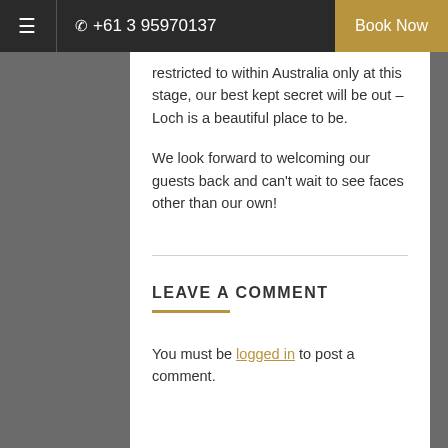☰  +61 3 95970137  Book Now
restricted to within Australia only at this stage, our best kept secret will be out – Loch is a beautiful place to be.
We look forward to welcoming our guests back and can't wait to see faces other than our own!
LEAVE A COMMENT
You must be logged in to post a comment.